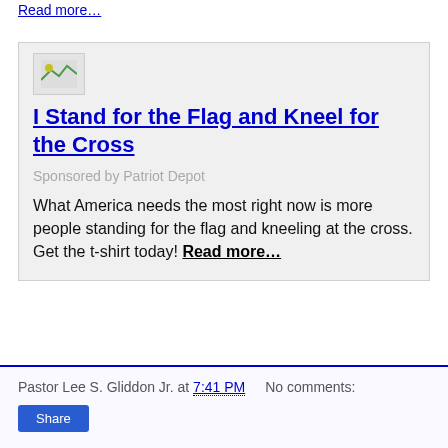Read more…
[Figure (illustration): Small broken/loading image placeholder icon]
I Stand for the Flag and Kneel for the Cross
Sponsored by Patriot Depot
What America needs the most right now is more people standing for the flag and kneeling at the cross. Get the t-shirt today! Read more…
Pastor Lee S. Gliddon Jr. at 7:41 PM   No comments:   Share